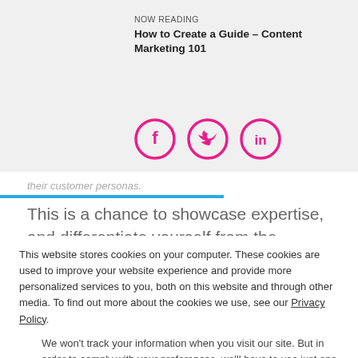NOW READING
How to Create a Guide - Content Marketing 101
[Figure (illustration): Three circular social media icons with pink borders: Facebook (f), Twitter (bird), LinkedIn (in)]
their customer personas.
This is a chance to showcase expertise, and differentiate yourself from the competition. By sharing high quality
This website stores cookies on your computer. These cookies are used to improve your website experience and provide more personalized services to you, both on this website and through other media. To find out more about the cookies we use, see our Privacy Policy.
We won't track your information when you visit our site. But in order to comply with your preferences, we'll have to use just one tiny cookie so that you're not asked to make this choice again.
Accept
Decline